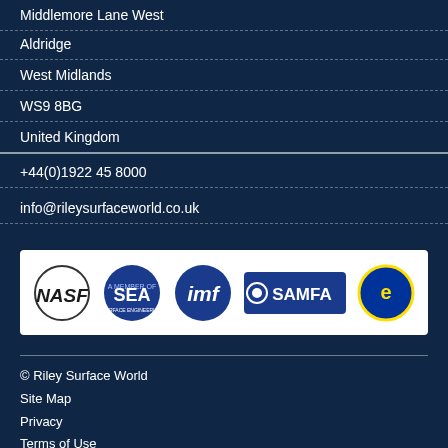Middlemore Lane West
Aldridge
West Midlands
WS9 8BG
United Kingdom
+44(0)1922 45 8000
info@rileysurfaceworld.co.uk
[Figure (logo): Row of association logos: NASF, SEA, imf, SAMFA, and a European association badge]
© Riley Surface World
Site Map
Privacy
Terms of Use
Terms of Business
Jobs